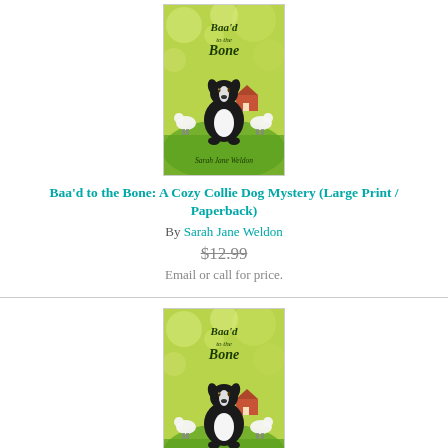[Figure (illustration): Book cover for 'Baa'd to the Bone: A Cozy Collie Dog Mystery' by Sarah Jane Weldon. Green background with yellow-green hues, a border collie dog sitting center, sheep in background, farm scene, text in stylized script.]
Baa'd to the Bone: A Cozy Collie Dog Mystery (Large Print / Paperback)
By Sarah Jane Weldon
$12.99
Email or call for price.
[Figure (illustration): Book cover for 'Baa'd to the Bone: A Cozy Collie Dog Mystery' by Sarah Jane Weldon. Same cover as above — green/yellow-green background, border collie dog, sheep, farm scene, stylized script title.]
Baa'd to the Bone: A Cozy Collie Dog Mystery (Paperback)